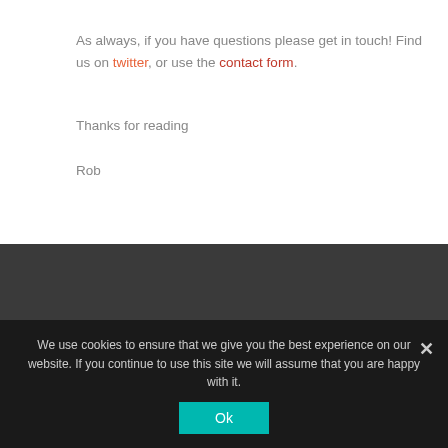As always, if you have questions please get in touch! Find us on twitter, or use the contact form.
Thanks for reading
Rob
The Cyber Security Expert Limited
Registered office:
We use cookies to ensure that we give you the best experience on our website. If you continue to use this site we will assume that you are happy with it.